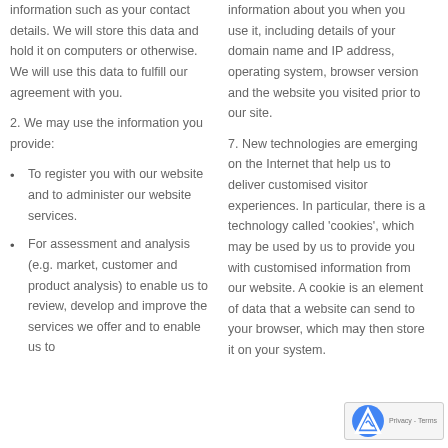information such as your contact details. We will store this data and hold it on computers or otherwise. We will use this data to fulfill our agreement with you.
2. We may use the information you provide:
To register you with our website and to administer our website services.
For assessment and analysis (e.g. market, customer and product analysis) to enable us to review, develop and improve the services we offer and to enable us to
information about you when you use it, including details of your domain name and IP address, operating system, browser version and the website you visited prior to our site.
7. New technologies are emerging on the Internet that help us to deliver customised visitor experiences. In particular, there is a technology called ‘cookies’, which may be used by us to provide you with customised information from our website. A cookie is an element of data that a website can send to your browser, which may then store it on your system.